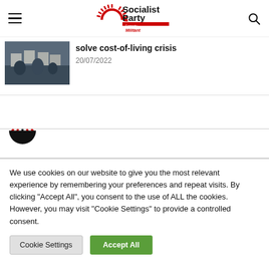Socialist Party – Formerly Militant
[Figure (photo): Photo of protesters holding signs at a demonstration]
solve cost-of-living crisis
20/07/2022
[Figure (logo): Partial Socialist Party logo sun rays visible at bottom of mid section]
We use cookies on our website to give you the most relevant experience by remembering your preferences and repeat visits. By clicking "Accept All", you consent to the use of ALL the cookies. However, you may visit "Cookie Settings" to provide a controlled consent.
Cookie Settings
Accept All